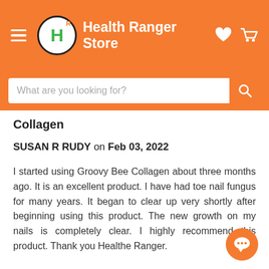Health Ranger Store
Collagen
SUSAN R RUDY on Feb 03, 2022
I started using Groovy Bee Collagen about three months ago. It is an excellent product. I have had toe nail fungus for many years. It began to clear up very shortly after beginning using this product. The new growth on my nails is completely clear. I highly recommend this product. Thank you Healthe Ranger.